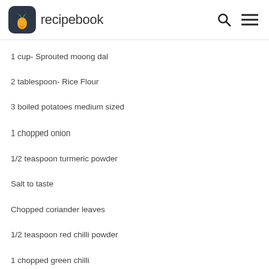recipebook
1 cup- Sprouted moong dal
2 tablespoon- Rice Flour
3 boiled potatoes medium sized
1 chopped onion
1/2 teaspoon turmeric powder
Salt to taste
Chopped coriander leaves
1/2 teaspoon red chilli powder
1 chopped green chilli
1/2 teaspoon roasted cumin powder
1 teaspoon coriander powder
Directions
01  Boil the sprouted moong in a little water for 3-4 minutes and